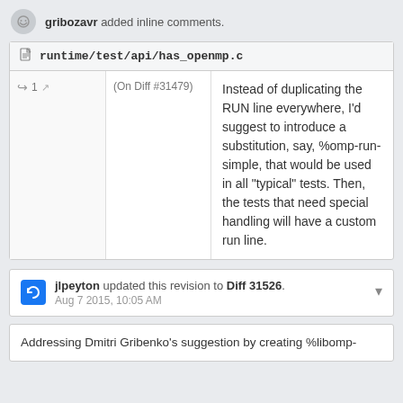gribozavr added inline comments.
runtime/test/api/has_openmp.c
1 (On Diff #31479) Instead of duplicating the RUN line everywhere, I'd suggest to introduce a substitution, say, %omp-run-simple, that would be used in all "typical" tests. Then, the tests that need special handling will have a custom run line.
jlpeyton updated this revision to Diff 31526. Aug 7 2015, 10:05 AM
Addressing Dmitri Gribenko's suggestion by creating %libomp-